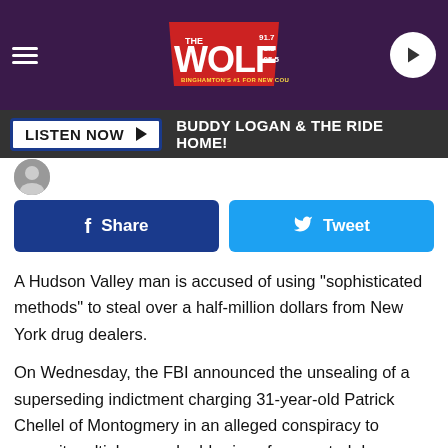[Figure (screenshot): Website header bar with hamburger menu, The Wolf radio station logo (91.7, 91.3, 105.5), and circular play button on dark purple background]
[Figure (screenshot): Listen Now button bar with dark background showing 'LISTEN NOW ►' button and text 'BUDDY LOGAN & THE RIDE HOME!']
[Figure (screenshot): Facebook Share button (dark blue) and Twitter Tweet button (light blue) side by side]
A Hudson Valley man is accused of using "sophisticated methods" to steal over a half-million dollars from New York drug dealers.
On Wednesday, the FBI announced the unsealing of a superseding indictment charging 31-year-old Patrick Chellel of Montogmery in an alleged conspiracy to commit multiple armed robberies of suspected drug dealers and drug runners in Orange County, New York, the Bronx, New York, and Hartford, Connecticut.